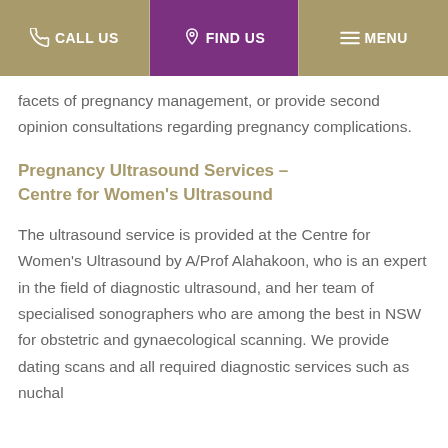CALL US | FIND US | MENU
facets of pregnancy management, or provide second opinion consultations regarding pregnancy complications.
Pregnancy Ultrasound Services – Centre for Women's Ultrasound
The ultrasound service is provided at the Centre for Women's Ultrasound by A/Prof Alahakoon, who is an expert in the field of diagnostic ultrasound, and her team of specialised sonographers who are among the best in NSW for obstetric and gynaecological scanning. We provide dating scans and all required diagnostic services such as nuchal